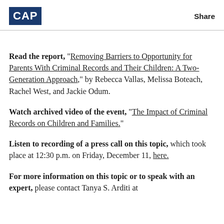CAP | Share
Read the report, “Removing Barriers to Opportunity for Parents With Criminal Records and Their Children: A Two-Generation Approach,” by Rebecca Vallas, Melissa Boteach, Rachel West, and Jackie Odum.
Watch archived video of the event, “The Impact of Criminal Records on Children and Families.”
Listen to recording of a press call on this topic, which took place at 12:30 p.m. on Friday, December 11, here.
For more information on this topic or to speak with an expert, please contact Tanya S. Arditi at